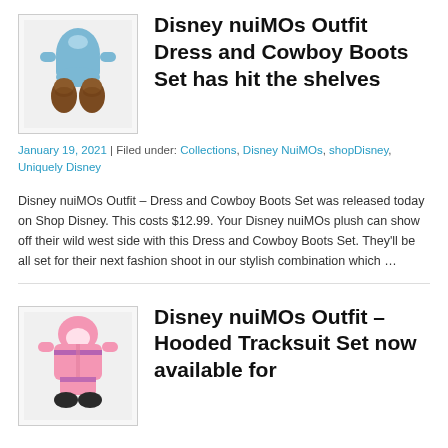[Figure (photo): Disney nuiMOs outfit - blue dress and brown cowboy boots on a plush toy]
Disney nuiMOs Outfit Dress and Cowboy Boots Set has hit the shelves
January 19, 2021 | Filed under: Collections, Disney NuiMOs, shopDisney, Uniquely Disney
Disney nuiMOs Outfit – Dress and Cowboy Boots Set was released today on Shop Disney. This costs $12.99. Your Disney nuiMOs plush can show off their wild west side with this Dress and Cowboy Boots Set. They'll be all set for their next fashion shoot in our stylish combination which …
[Figure (photo): Disney nuiMOs outfit - pink hooded tracksuit with purple accents on a plush toy]
Disney nuiMOs Outfit – Hooded Tracksuit Set now available for